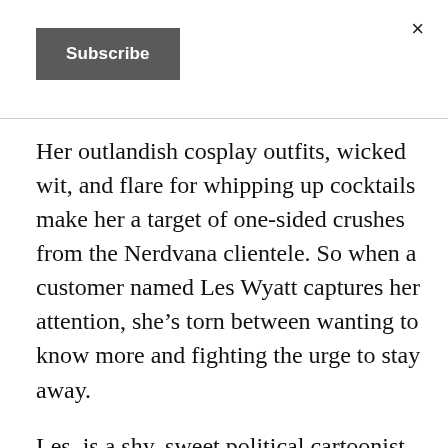[Figure (other): Close button (×) in top-right corner]
[Figure (other): Subscribe button (dark grey rectangular button with white bold text)]
Her outlandish cosplay outfits, wicked wit, and flare for whipping up cocktails make her a target of one-sided crushes from the Nerdvana clientele. So when a customer named Les Wyatt captures her attention, she's torn between wanting to know more and fighting the urge to stay away.
Les is a shy, sweet political cartoonist and larper. Jamie is vibrant, complicated, and allergic to commitment. He's everything she shouldn't want and Jamie's convinced she—